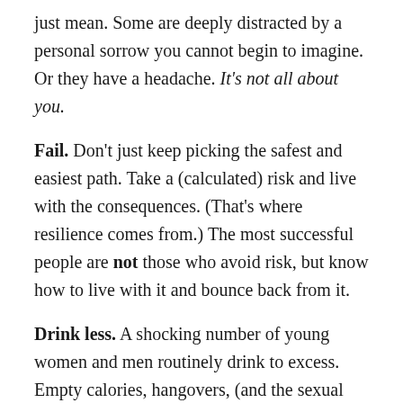just mean. Some are deeply distracted by a personal sorrow you cannot begin to imagine. Or they have a headache. It's not all about you.
Fail. Don't just keep picking the safest and easiest path. Take a (calculated) risk and live with the consequences. (That's where resilience comes from.) The most successful people are not those who avoid risk, but know how to live with it and bounce back from it.
Drink less. A shocking number of young women and men routinely drink to excess. Empty calories, hangovers, (and the sexual risk of being drunk around people you don't know well), and alcoholism are really unattractive. Step away from the margarita!